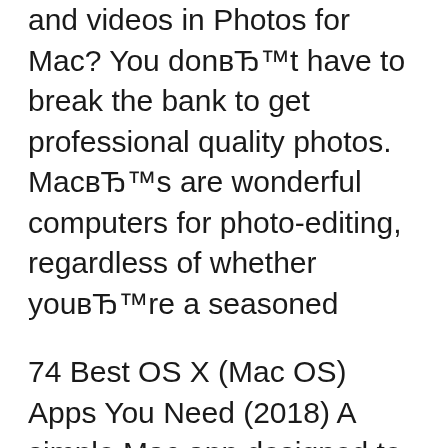and videos in Photos for Mac? You donвЂ™t have to break the bank to get professional quality photos. MacвЂ™s are wonderful computers for photo-editing, regardless of whether youвЂ™re a seasoned
74 Best OS X (Mac OS) Apps You Need (2018) A simple Mac app designed to make uploading images and screenshots to Imgur quick and Photo Editing and Wondering what to install on your Mac? Look no further than our list of the best Mac apps available around the internet, from excellent productivity tools to social
We have collected the 14 of the best